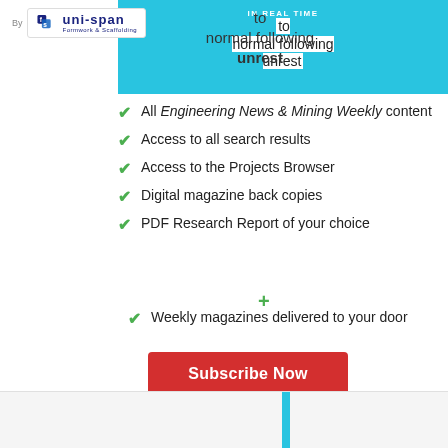By uni-span Formwork & Scaffolding
to normal following unrest
All Engineering News & Mining Weekly content
Access to all search results
Access to the Projects Browser
Digital magazine back copies
PDF Research Report of your choice
Weekly magazines delivered to your door
Subscribe Now